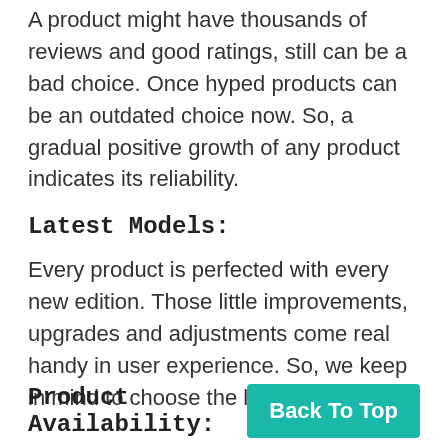A product might have thousands of reviews and good ratings, still can be a bad choice. Once hyped products can be an outdated choice now. So, a gradual positive growth of any product indicates its reliability.
Latest Models:
Every product is perfected with every new edition. Those little improvements, upgrades and adjustments come real handy in user experience. So, we keep in mind to choose the latest ones.
Product Availability:
Back To Top